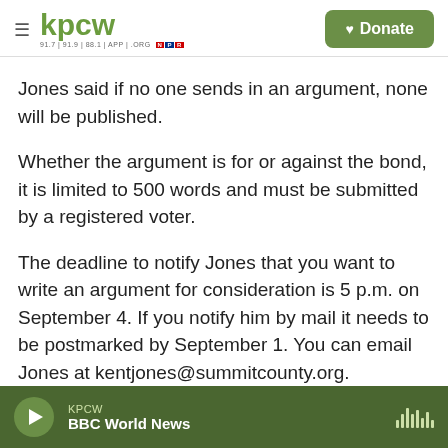kpcw — 91.7 | 91.9 | 88.1 | APP | .ORG   Donate
Jones said if no one sends in an argument, none will be published.
Whether the argument is for or against the bond, it is limited to 500 words and must be submitted by a registered voter.
The deadline to notify Jones that you want to write an argument for consideration is 5 p.m. on September 4. If you notify him by mail it needs to be postmarked by September 1. You can email Jones at kentjones@summitcounty.org.
KPCW  BBC World News